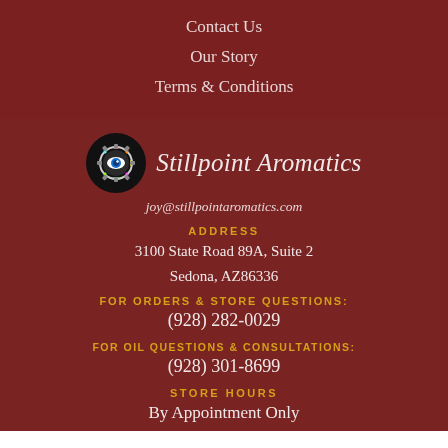Contact Us
Our Story
Terms & Conditions
[Figure (logo): Stillpoint Aromatics logo: gear/eye icon in circle with brand name in italic script]
joy@stillpointaromatics.com
ADDRESS
3100 State Road 89A, Suite 2
Sedona, AZ86336
FOR ORDERS & STORE QUESTIONS:
(928) 282-0029
FOR OIL QUESTIONS & CONSULTATIONS:
(928) 301-8699
STORE HOURS
By Appointment Only